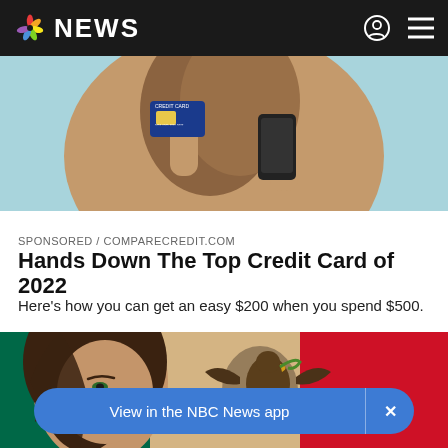NBC NEWS
[Figure (photo): Person holding a credit card in front of their face with a smartphone in the other hand, light blue background]
SPONSORED / COMPARECREDIT.COM
Hands Down The Top Credit Card of 2022
Here's how you can get an easy $200 when you spend $500.
[Figure (photo): Woman with dark hair in front of the Mexican flag (green, white with eagle emblem, red)]
View in the NBC News app  ×